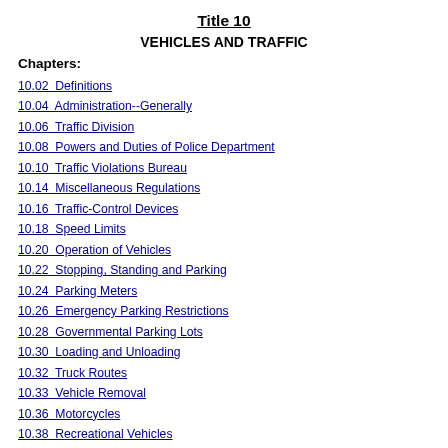Title 10
VEHICLES AND TRAFFIC
Chapters:
10.02  Definitions
10.04  Administration--Generally
10.06  Traffic Division
10.08  Powers and Duties of Police Department
10.10  Traffic Violations Bureau
10.14  Miscellaneous Regulations
10.16  Traffic-Control Devices
10.18  Speed Limits
10.20  Operation of Vehicles
10.22  Stopping, Standing and Parking
10.24  Parking Meters
10.26  Emergency Parking Restrictions
10.28  Governmental Parking Lots
10.30  Loading and Unloading
10.32  Truck Routes
10.33  Vehicle Removal
10.36  Motorcycles
10.38  Recreational Vehicles
10.40  Snowmobiles
10.42  Bicycles
10.44  Pedestrians
10.46  Street and District Designation
10.48  Equipment and Weight Regulations
10.50  Street Cleaning Regulations